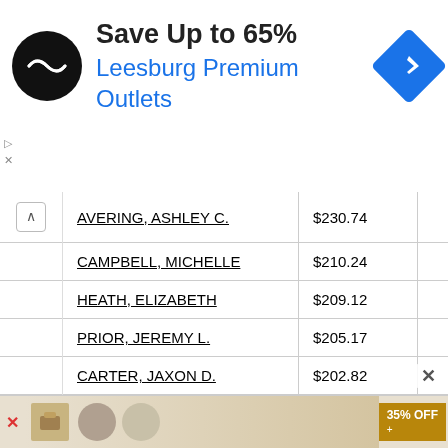[Figure (screenshot): Advertisement banner: Save Up to 65% Leesburg Premium Outlets with black circular logo and blue diamond navigation icon]
|  | Name | Amount |  |
| --- | --- | --- | --- |
| ^ | AVERING, ASHLEY C. | $230.74 |  |
|  | CAMPBELL, MICHELLE | $210.24 |  |
|  | HEATH, ELIZABETH | $209.12 |  |
|  | PRIOR, JEREMY L. | $205.17 |  |
|  | CARTER, JAXON D. | $202.82 |  |
|  | THOMAS, SHANA L. | $194.69 |  |
|  | HANSEN, TRESA G. | $194.69 |  |
|  | SORIANO, ALFREDO | $194.69 |  |
|  | ROSE, SHAYANNE | $185.86 |  |
|  | PETERSEN, DAWN MARI | $193.09 |  |
[Figure (screenshot): Bottom advertisement banner with food image and 35% OFF badge]